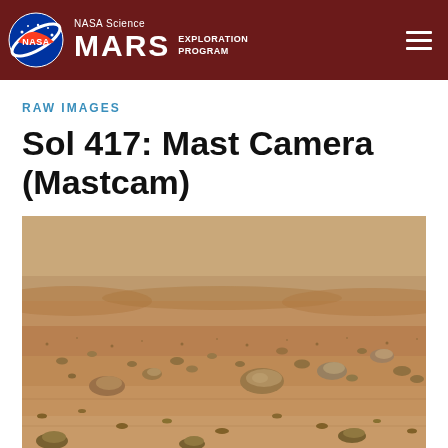NASA Science MARS EXPLORATION PROGRAM
RAW IMAGES
Sol 417: Mast Camera (Mastcam)
[Figure (photo): Mars surface raw image from Mastcam showing rocky Martian terrain with reddish-brown sandy ground covered with small rocks and stones, taken on Sol 417]